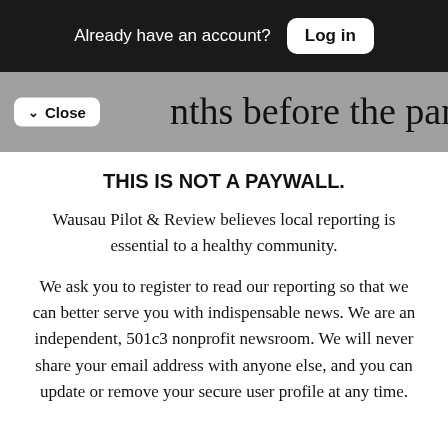Already have an account? Log in
nths before the pandemic hit, the
THIS IS NOT A PAYWALL.
Wausau Pilot & Review believes local reporting is essential to a healthy community.
We ask you to register to read our reporting so that we can better serve you with indispensable news. We are an independent, 501c3 nonprofit newsroom. We will never share your email address with anyone else, and you can update or remove your secure user profile at any time.